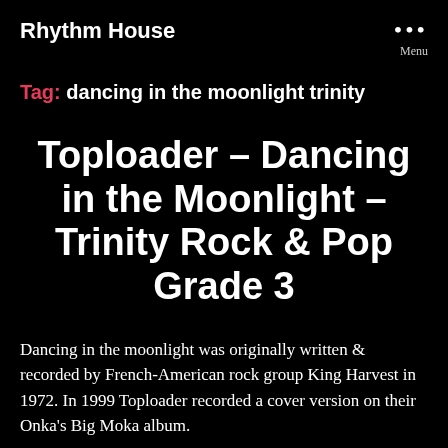Rhythm House
Tag: dancing in the moonlight trinity
Toploader – Dancing in the Moonlight – Trinity Rock & Pop Grade 3
Dancing in the moonlight was originally written & recorded by French-American rock group King Harvest in 1972. In 1999 Toploader recorded a cover version on their Onka's Big Moka album.